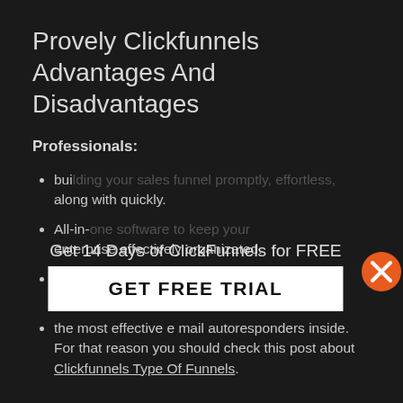Provely Clickfunnels Advantages And Disadvantages
Professionals:
building your sales funnel promptly, effortless, along with quickly.
All-in-one software to keep your enterprise effectively organizated.
break up screening and conversion monitoring within your clients.
the most effective e mail autoresponders inside. For that reason you should check this post about Clickfunnels Type Of Funnels.
[Figure (screenshot): Popup overlay with text 'Get 14 Days of ClickFunnels for FREE' and a white button labeled 'GET FREE TRIAL', with an orange X close button in the top-right corner]